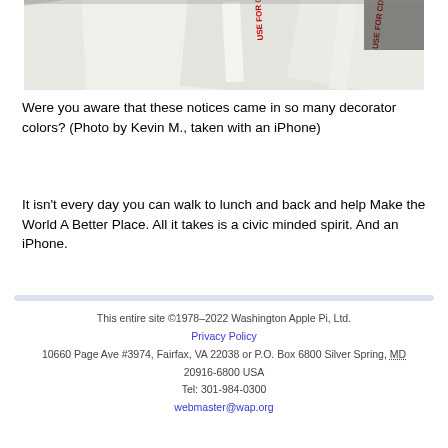[Figure (photo): Photo of white envelopes/mailers angled, with red text reading 'USE FOR CDS O...' printed on them, taken with an iPhone by Kevin M.]
Were you aware that these notices came in so many decorator colors? (Photo by Kevin M., taken with an iPhone)
It isn't every day you can walk to lunch and back and help Make the World A Better Place. All it takes is a civic minded spirit. And an iPhone.
This entire site ©1978–2022 Washington Apple Pi, Ltd.
Privacy Policy
10660 Page Ave #3974, Fairfax, VA 22038 or P.O. Box 6800 Silver Spring, MD 20916-6800 USA
Tel: 301-984-0300
webmaster@wap.org